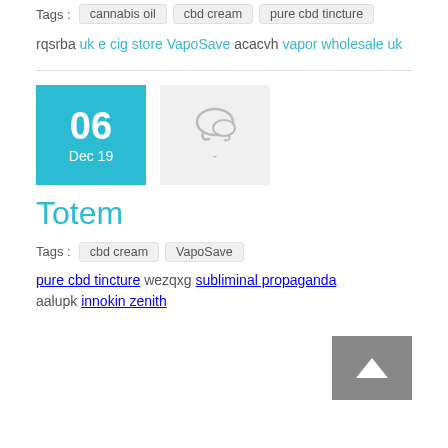Tags: cannabis oil  cbd cream  pure cbd tincture
rqsrba uk e cig store VapoSave acacvh vapor wholesale uk
[Figure (other): Date box showing 06 Dec 19 in teal, and a comment icon box]
Totem
Tags: cbd cream  VapoSave
pure cbd tincture wezqxg subliminal propaganda aalupk innokin zenith